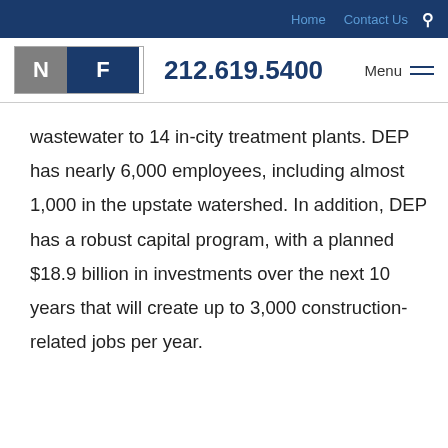Home  Contact Us  🔍
NF  212.619.5400  Menu
wastewater to 14 in-city treatment plants. DEP has nearly 6,000 employees, including almost 1,000 in the upstate watershed. In addition, DEP has a robust capital program, with a planned $18.9 billion in investments over the next 10 years that will create up to 3,000 construction-related jobs per year.